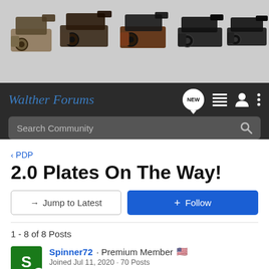[Figure (photo): Header banner showing five Walther pistol models side by side on a gray background]
Walther Forums — navigation bar with logo, NEW button, list icon, user icon, three-dot menu, and Search Community search bar
< PDP
2.0 Plates On The Way!
→ Jump to Latest  |  + Follow
1 - 8 of 8 Posts
Spinner72 · Premium Member 🇺🇸
Joined Jul 11, 2020 · 70 Posts